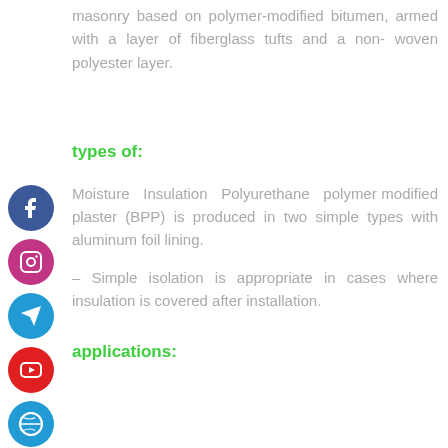masonry based on polymer-modified bitumen, armed with a layer of fiberglass tufts and a non-woven polyester layer.
types of:
Moisture Insulation Polyurethane polymer modified plaster (BPP) is produced in two simple types with aluminum foil lining.
– Simple isolation is appropriate in cases where insulation is covered after installation.
applications:
[Figure (other): Social media icon buttons: Facebook, Instagram, Telegram, YouTube, Website/Soccer ball, Android on the left sidebar]